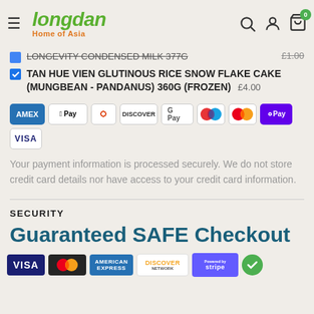Longdan Home of Asia
LONGEVITY CONDENSED MILK 377G  £1.00
TAN HUE VIEN GLUTINOUS RICE SNOW FLAKE CAKE (MUNGBEAN - PANDANUS) 360G (FROZEN)  £4.00
[Figure (other): Payment method logos: AMEX, Apple Pay, Diners, Discover, Google Pay, Maestro, Mastercard, OPay, VISA]
Your payment information is processed securely. We do not store credit card details nor have access to your credit card information.
SECURITY
Guaranteed SAFE Checkout
[Figure (other): Security logos: VISA, MasterCard, American Express, Discover Network, Powered by Stripe, green checkmark]